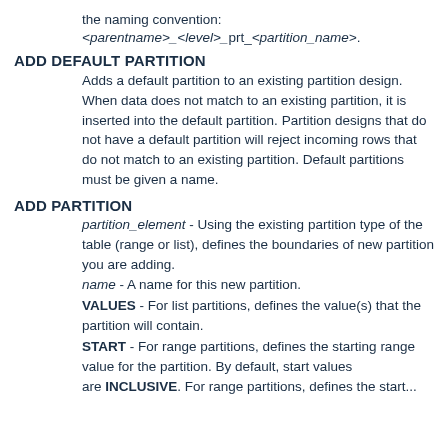the naming convention:
<parentname>_<level>_prt_<partition_name>.
ADD DEFAULT PARTITION
Adds a default partition to an existing partition design. When data does not match to an existing partition, it is inserted into the default partition. Partition designs that do not have a default partition will reject incoming rows that do not match to an existing partition. Default partitions must be given a name.
ADD PARTITION
partition_element - Using the existing partition type of the table (range or list), defines the boundaries of new partition you are adding.
name - A name for this new partition.
VALUES - For list partitions, defines the value(s) that the partition will contain.
START - For range partitions, defines the starting range value for the partition. By default, start values are INCLUSIVE. For range partitions, defines the start...